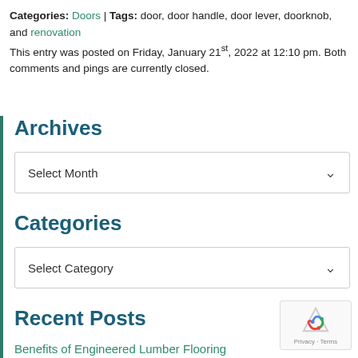Categories: Doors | Tags: door, door handle, door lever, doorknob, and renovation
This entry was posted on Friday, January 21st, 2022 at 12:10 pm. Both comments and pings are currently closed.
Archives
Select Month
Categories
Select Category
Recent Posts
Benefits of Engineered Lumber Flooring